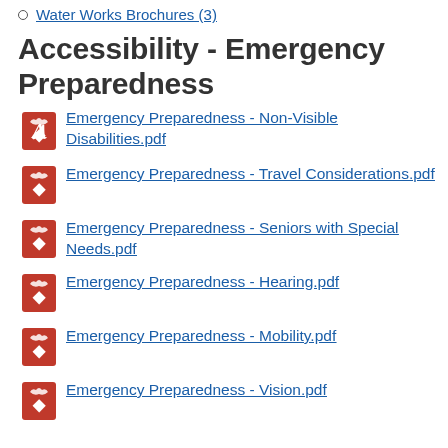Water Works Brochures (3)
Accessibility - Emergency Preparedness
Emergency Preparedness - Non-Visible Disabilities.pdf
Emergency Preparedness - Travel Considerations.pdf
Emergency Preparedness - Seniors with Special Needs.pdf
Emergency Preparedness - Hearing.pdf
Emergency Preparedness - Mobility.pdf
Emergency Preparedness - Vision.pdf